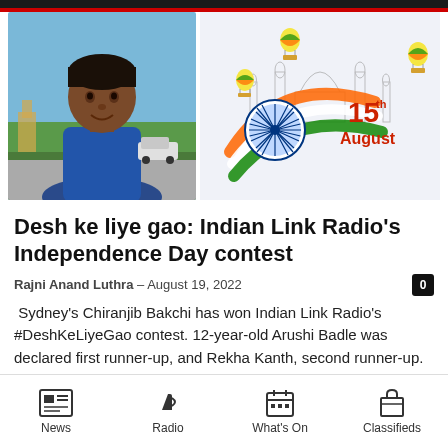[Figure (photo): Portrait photo of a man (Chiranjib Bakchi) outdoors with blue sky and trees in background, wearing a blue sleeveless top]
[Figure (illustration): Indian Independence Day graphic with '15th August' text, Ashoka Chakra wheel, Indian flag colors swirl, Taj Mahal outline, hot air balloons in tricolor]
Desh ke liye gao: Indian Link Radio's Independence Day contest
Rajni Anand Luthra – August 19, 2022
Sydney's Chiranjib Bakchi has won Indian Link Radio's #DeshKeLiyeGao contest. 12-year-old Arushi Badle was declared first runner-up, and Rekha Kanth, second runner-up. Chiranjib
News | Radio | What's On | Classifieds